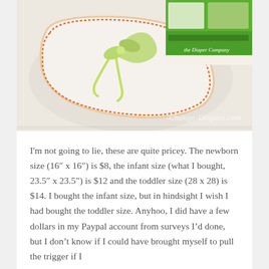[Figure (photo): Photo of a white cloth diaper folded and tied with a green ribbon, with an orange embroidered border. In the background are product cards/brochures including one that reads 'the Diaper Company'. Watermark reads 'Change-Diapers.com'.]
I'm not going to lie, these are quite pricey. The newborn size (16" x 16") is $8, the infant size (what I bought, 23.5" x 23.5") is $12 and the toddler size (28 x 28) is $14. I bought the infant size, but in hindsight I wish I had bought the toddler size. Anyhoo, I did have a few dollars in my Paypal account from surveys I'd done, but I don't know if I could have brought myself to pull the trigger if I